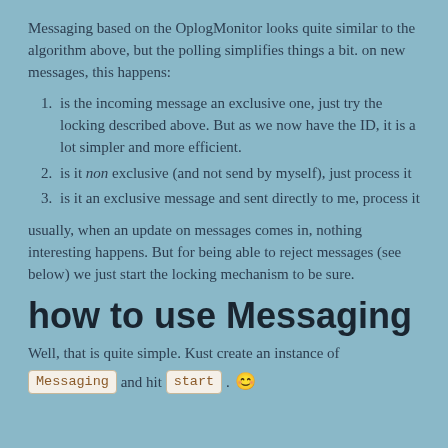Messaging based on the OplogMonitor looks quite similar to the algorithm above, but the polling simplifies things a bit. on new messages, this happens:
is the incoming message an exclusive one, just try the locking described above. But as we now have the ID, it is a lot simpler and more efficient.
is it non exclusive (and not send by myself), just process it
is it an exclusive message and sent directly to me, process it
usually, when an update on messages comes in, nothing interesting happens. But for being able to reject messages (see below) we just start the locking mechanism to be sure.
how to use Messaging
Well, that is quite simple. Kust create an instance of
Messaging and hit start . 😊